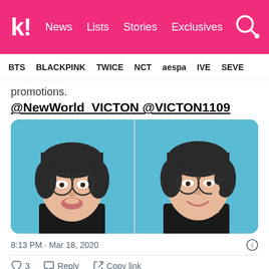k! News Lists Stories Exclusives
BTS BLACKPINK TWICE NCT aespa IVE SEVE
promotions.
@NewWorld_VICTON @VICTON1109
[Figure (photo): Two side-by-side photos of a young man wearing glasses and a black shirt against a blue background. Left photo: pouty expression. Right photo: smiling, hand raised to chin.]
8:13 PM · Mar 18, 2020
♡ 3  Reply  Copy link
Explore what's happening on Twitter